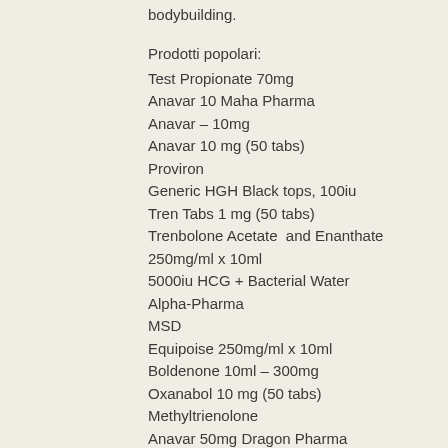bodybuilding.
Prodotti popolari:
Test Propionate 70mg
Anavar 10 Maha Pharma
Anavar – 10mg
Anavar 10 mg (50 tabs)
Proviron
Generic HGH Black tops, 100iu
Tren Tabs 1 mg (50 tabs)
Trenbolone Acetate  and Enanthate 250mg/ml x 10ml
5000iu HCG + Bacterial Water
Alpha-Pharma
MSD
Equipoise 250mg/ml x 10ml
Boldenone 10ml – 300mg
Oxanabol 10 mg (50 tabs)
Methyltrienolone
Anavar 50mg Dragon Pharma
Dragon Pharma Europe Domestic
Dragon Pharma